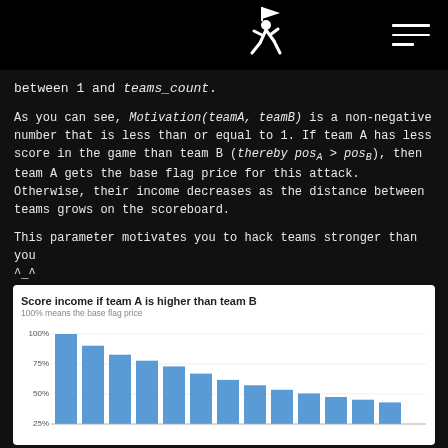[Logo icon: running person with flag] [Hamburger menu]
between 1 and teams_count.
As you can see, Motivation(teamA, teamB) is a non-negative number that is less than or equal to 1. If team A has less score in the game than team B (thereby posA > posB), then team A gets the base flag price for this attack. Otherwise, their income decreases as the distance between teams grows on the scoreboard.
This parameter motivates you to hack teams stronger than you ^_^
[Figure (bar-chart): Score income if team A is higher than team B]